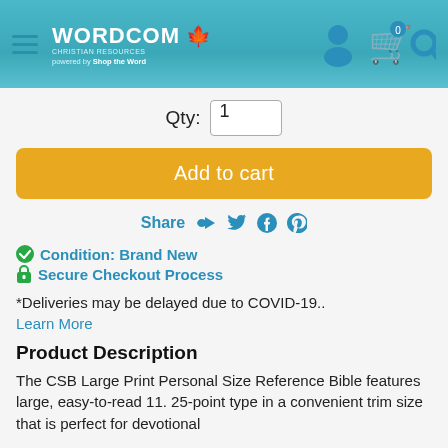[Figure (logo): Wordcom Christian Resources logo with maple leaf, powered by ShoptheWord, on teal header with hamburger menu and icons]
Qty: 1
Add to cart
Share
✔ Condition: Brand New
🔒 Secure Checkout Process
*Deliveries may be delayed due to COVID-19..
Learn More
Product Description
The CSB Large Print Personal Size Reference Bible features large, easy-to-read 11. 25-point type in a convenient trim size that is perfect for devotional